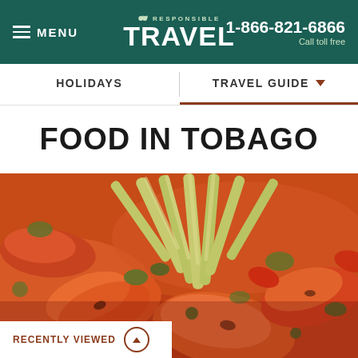MENU | RESPONSIBLE TRAVEL | 1-866-821-6866 Call toll free
HOLIDAYS | TRAVEL GUIDE
FOOD IN TOBAGO
[Figure (photo): Close-up photo of cooked shrimp/prawns with vegetables including celery sticks, peppers and green vegetables, typical Caribbean seafood dish.]
RECENTLY VIEWED